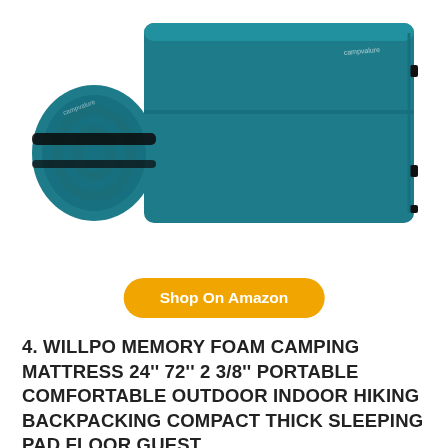[Figure (photo): Product photo showing a teal/dark cyan self-inflating camping sleeping pad unrolled flat, and a rolled/compressed version of the same pad with straps, shown side by side on a white background.]
Shop On Amazon
4. WILLPO MEMORY FOAM CAMPING MATTRESS 24" 72" 2 3/8" PORTABLE COMFORTABLE OUTDOOR INDOOR HIKING BACKPACKING COMPACT THICK SLEEPING PAD FLOOR GUEST